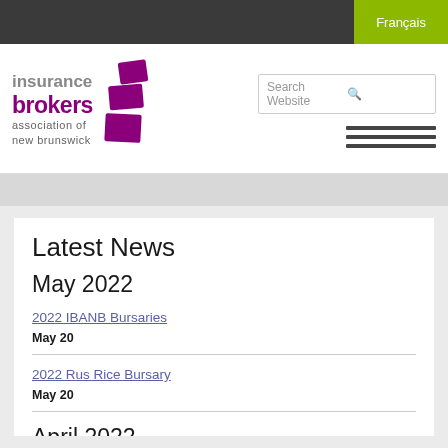Français
[Figure (logo): Insurance Brokers Association of New Brunswick logo with purple stacked document icon]
Latest News
May 2022
2022 IBANB Bursaries
May 20
2022 Rus Rice Bursary
May 20
April 2022